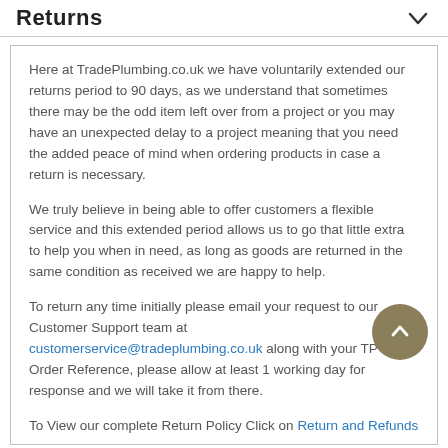Returns
Here at TradePlumbing.co.uk we have voluntarily extended our returns period to 90 days, as we understand that sometimes there may be the odd item left over from a project or you may have an unexpected delay to a project meaning that you need the added peace of mind when ordering products in case a return is necessary.
We truly believe in being able to offer customers a flexible service and this extended period allows us to go that little extra to help you when in need, as long as goods are returned in the same condition as received we are happy to help.
To return any time initially please email your request to our Customer Support team at customerservice@tradeplumbing.co.uk along with your TP - Order Reference, please allow at least 1 working day for response and we will take it from there.
To View our complete Return Policy Click on Return and Refunds